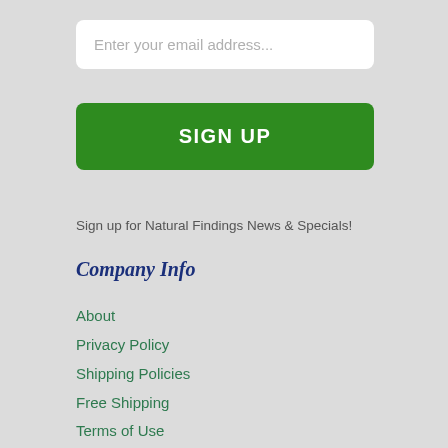Enter your email address...
SIGN UP
Sign up for Natural Findings News & Specials!
Company Info
About
Privacy Policy
Shipping Policies
Free Shipping
Terms of Use